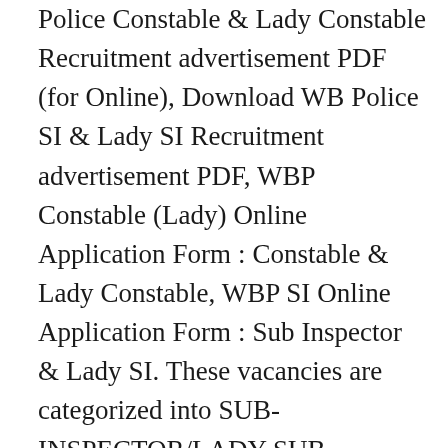Police Constable & Lady Constable Recruitment advertisement PDF (for Online), Download WB Police SI & Lady SI Recruitment advertisement PDF, WBP Constable (Lady) Online Application Form : Constable & Lady Constable, WBP SI Online Application Form : Sub Inspector & Lady SI. These vacancies are categorized into SUB-INSPECTOR/LADY SUB-INSPECTOR of Police (Armed Branch) in West Bengal Police. job Qualification: 10 th pass Age:22+ State:WB Hight: 5.7 Whit:73KG, My name is Krishna Mondal, category: SC qualification:12th pass Age: 21 State Kolkata Hight: 5.2 White: 45kg, My name is sanchita ghosh..I need govt. Applicants who completed the Madhyamik Examination from the West